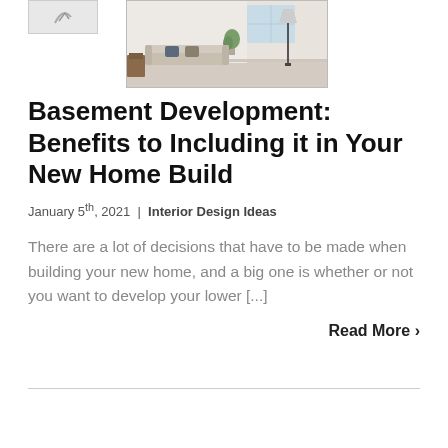[Figure (photo): Small logo image (partial view) on the upper left, and a main interior room photo showing a light-colored living room with a sofa, pillows, plant, and lamp on the upper right area]
Basement Development: Benefits to Including it in Your New Home Build
January 5th, 2021  |  Interior Design Ideas
There are a lot of decisions that have to be made when building your new home, and a big one is whether or not you want to develop your lower [...]
Read More >